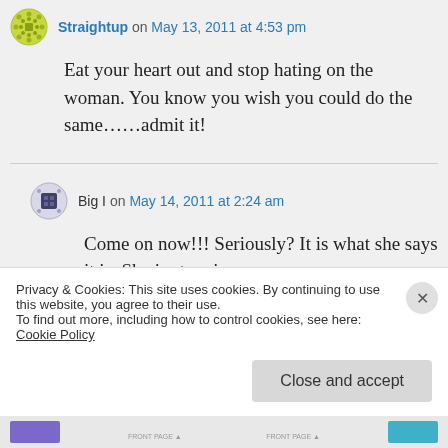Straightup on May 13, 2011 at 4:53 pm
Eat your heart out and stop hating on the woman. You know you wish you could do the same……admit it!
Big I on May 14, 2011 at 2:24 am
Come on now!!! Seriously? It is what she says it is. She is stunning
Privacy & Cookies: This site uses cookies. By continuing to use this website, you agree to their use.
To find out more, including how to control cookies, see here: Cookie Policy